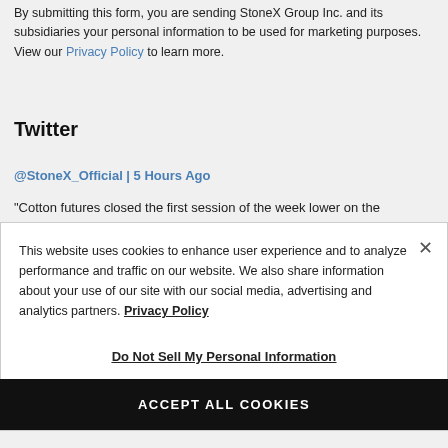By submitting this form, you are sending StoneX Group Inc. and its subsidiaries your personal information to be used for marketing purposes. View our Privacy Policy to learn more.
Twitter
@StoneX_Official | 5 Hours Ago
"Cotton futures closed the first session of the week lower on the
This website uses cookies to enhance user experience and to analyze performance and traffic on our website. We also share information about your use of our site with our social media, advertising and analytics partners. Privacy Policy
Do Not Sell My Personal Information
ACCEPT ALL COOKIES